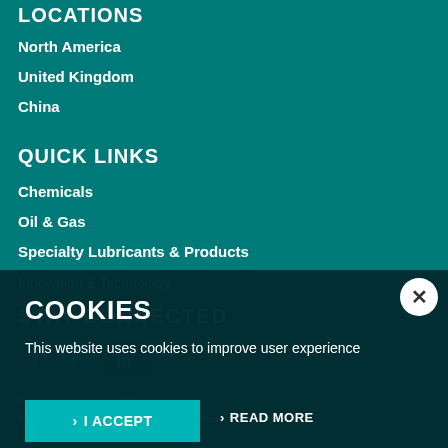LOCATIONS
North America
United Kingdom
China
QUICK LINKS
Chemicals
Oil & Gas
Specialty Lubricants & Products
Innovation & Technology
STAY CONNECTED
[Figure (illustration): Social media icons: Facebook, Twitter, LinkedIn]
Copyright | All Rights Reserved
Sitemap | Cookie Policy | Privacy Statement | Terms & Conditions
COOKIES
This website uses cookies to improve user experience
› I ACCEPT
› READ MORE